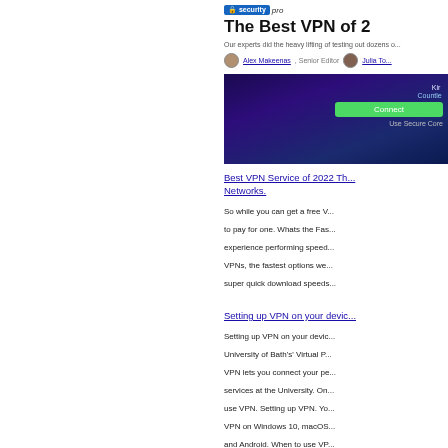security
The Best VPN of 2
Our experts did the heavy lifting of testing out dozens o...
Alex Makeenas, Senior Editor  Julia To...
[Figure (screenshot): Screenshot of a VPN application interface showing a dark purple background with a green 'Connect' button, text reading 'Use Secure Core' and menu options]
Best VPN Service of 2022 Th... Networks.
So while you can get a free V... to pay for one. Whats the Fas... experience performing speed... VPNs, the fastest options we... super quick download speeds...
Setting up VPN on your devic...
Setting up VPN on your devic... University of Bath's' Virtual P... VPN lets you connect your pe... services at the University. On... use VPN. Setting up VPN. Yo... VPN on Windows 10, macOS... and Android. When to use VP... secure link from your device t... University as if you were on t... There are many reasons to u... connecting to your work PC w... connecting to applications tha... when on the University's' net... Agresso, Typecase and Busin... accessing UniApps or UniDes... use the University of Bath VR... and the devices are visible to...